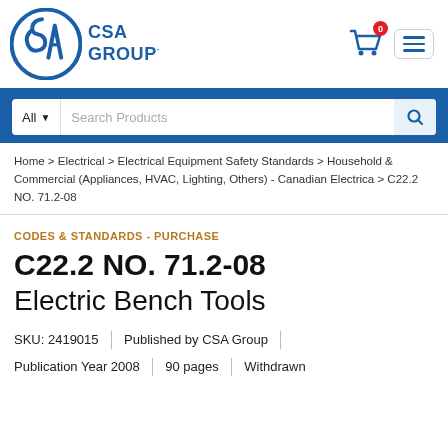[Figure (logo): CSA Group logo — circular blue SA emblem with CSA GROUP text in blue]
All ▼  Search Products
Home > Electrical > Electrical Equipment Safety Standards > Household & Commercial (Appliances, HVAC, Lighting, Others) - Canadian Electrica > C22.2 NO. 71.2-08
CODES & STANDARDS - PURCHASE
C22.2 NO. 71.2-08
Electric Bench Tools
SKU: 2419015 | Published by CSA Group
Publication Year 2008 | 90 pages | Withdrawn